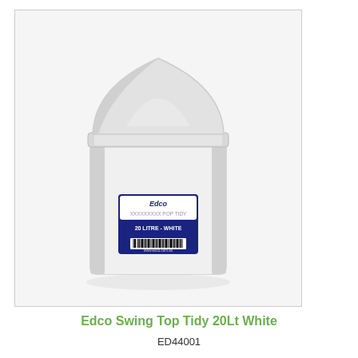[Figure (photo): A white plastic swing-top waste bin (20 litre) with a triangular-peaked lid. The bin has a blue and white product label on the front showing 'Edco', 'Pop Tidy', '20 Litre - White', and a barcode.]
Edco Swing Top Tidy 20Lt White
ED44001